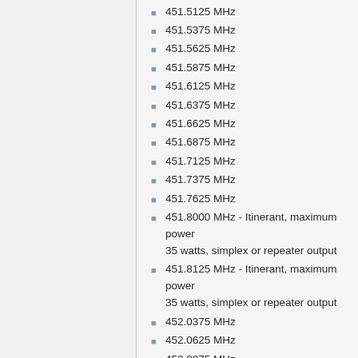451.5125 MHz
451.5375 MHz
451.5625 MHz
451.5875 MHz
451.6125 MHz
451.6375 MHz
451.6625 MHz
451.6875 MHz
451.7125 MHz
451.7375 MHz
451.7625 MHz
451.8000 MHz - Itinerant, maximum power 35 watts, simplex or repeater output
451.8125 MHz - Itinerant, maximum power 35 watts, simplex or repeater output
452.0375 MHz
452.0625 MHz
452.0875 MHz
452.1125 MHz
452.1375 MHz
452.1625 MHz
452.1875 MHz
452.6375 MHz